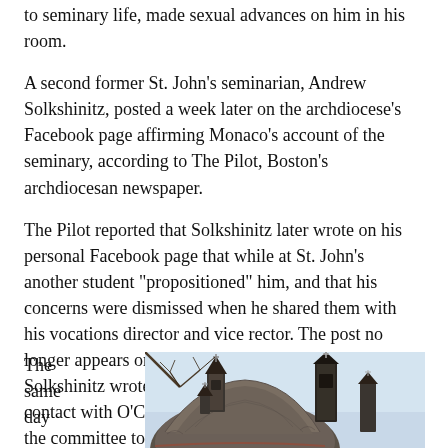to seminary life, made sexual advances on him in his room.
A second former St. John's seminarian, Andrew Solkshinitz, posted a week later on the archdiocese's Facebook page affirming Monaco's account of the seminary, according to The Pilot, Boston's archdiocesan newspaper.
The Pilot reported that Solkshinitz later wrote on his personal Facebook page that while at St. John's another student "propositioned" him, and that his concerns were dismissed when he shared them with his vocations director and vice rector. The post no longer appears on Solkshinitz's Facebook page. Solkshinitz wrote on Aug. 11 that he has been in contact with O'Connell "and will be working with the committee to help clean the seminary system. ... I hope that my openness will help inspire others in the pursuit of the truth."
The same day
[Figure (photo): Exterior photograph of a stone church building with a dome and steeples topped with crosses, photographed from a low angle against a light blue sky with bare tree branches visible.]